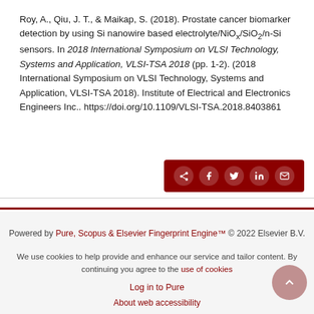Roy, A., Qiu, J. T., & Maikap, S. (2018). Prostate cancer biomarker detection by using Si nanowire based electrolyte/NiOx/SiO2/n-Si sensors. In 2018 International Symposium on VLSI Technology, Systems and Application, VLSI-TSA 2018 (pp. 1-2). (2018 International Symposium on VLSI Technology, Systems and Application, VLSI-TSA 2018). Institute of Electrical and Electronics Engineers Inc.. https://doi.org/10.1109/VLSI-TSA.2018.8403861
[Figure (other): Dark red share bar with social media icons: share, Facebook, Twitter, LinkedIn, email]
Powered by Pure, Scopus & Elsevier Fingerprint Engine™ © 2022 Elsevier B.V.
We use cookies to help provide and enhance our service and tailor content. By continuing you agree to the use of cookies
Log in to Pure
About web accessibility